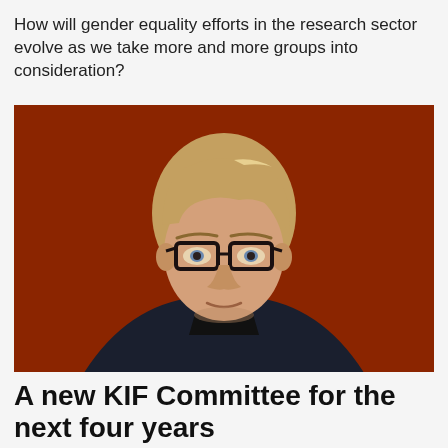How will gender equality efforts in the research sector evolve as we take more and more groups into consideration?
[Figure (photo): Portrait photograph of a person with shoulder-length blond-brown hair wearing black-rimmed glasses and a dark navy blazer, photographed against a dark reddish-brown background.]
A new KIF Committee for the next four years